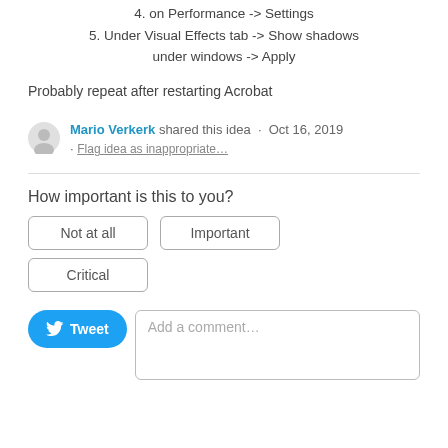4. on Performance -> Settings
5. Under Visual Effects tab -> Show shadows under windows -> Apply
Probably repeat after restarting Acrobat
Mario Verkerk shared this idea · Oct 16, 2019 · Flag idea as inappropriate…
How important is this to you?
Not at all
Important
Critical
[Figure (screenshot): Tweet button and Add a comment... input field]